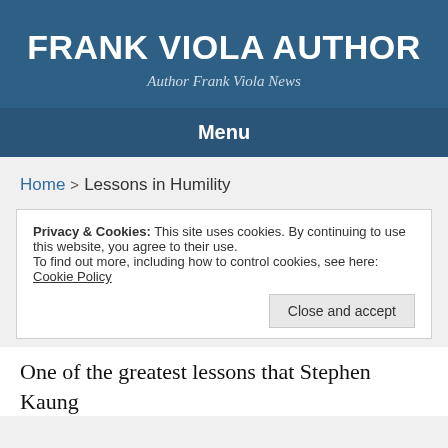FRANK VIOLA AUTHOR
Author Frank Viola News
Menu
Home > Lessons in Humility
Privacy & Cookies: This site uses cookies. By continuing to use this website, you agree to their use.
To find out more, including how to control cookies, see here: Cookie Policy
Close and accept
One of the greatest lessons that Stephen Kaung